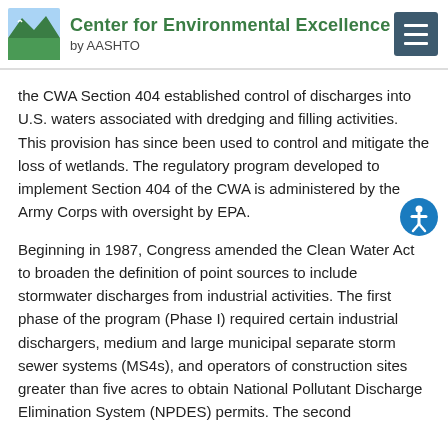Center for Environmental Excellence by AASHTO
the CWA Section 404 established control of discharges into U.S. waters associated with dredging and filling activities. This provision has since been used to control and mitigate the loss of wetlands. The regulatory program developed to implement Section 404 of the CWA is administered by the Army Corps with oversight by EPA.
Beginning in 1987, Congress amended the Clean Water Act to broaden the definition of point sources to include stormwater discharges from industrial activities. The first phase of the program (Phase I) required certain industrial dischargers, medium and large municipal separate storm sewer systems (MS4s), and operators of construction sites greater than five acres to obtain National Pollutant Discharge Elimination System (NPDES) permits. The second